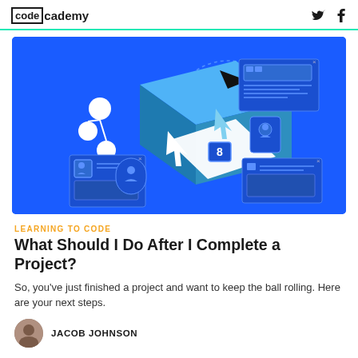codecademy
[Figure (illustration): Blue background illustration showing a 3D isometric box/cube with various UI windows and user profile cards floating around it, connected by dotted lines and arrows. White cursor arrows visible. Represents a coding project workflow.]
LEARNING TO CODE
What Should I Do After I Complete a Project?
So, you've just finished a project and want to keep the ball rolling. Here are your next steps.
JACOB JOHNSON